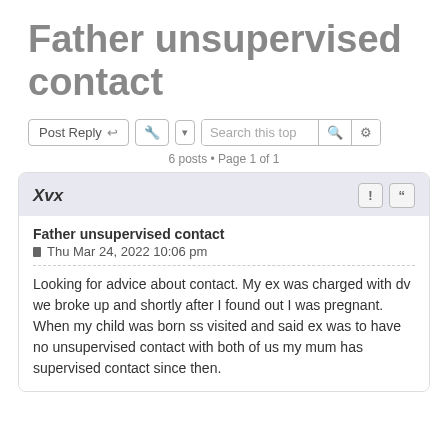Father unsupervised contact
6 posts • Page 1 of 1
Xvx
Father unsupervised contact
Thu Mar 24, 2022 10:06 pm
Looking for advice about contact. My ex was charged with dv we broke up and shortly after I found out I was pregnant. When my child was born ss visited and said ex was to have no unsupervised contact with both of us my mum has supervised contact since then.